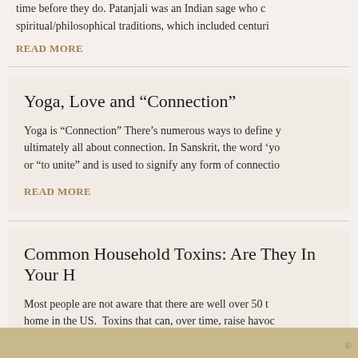time before they do. Patanjali was an Indian sage who compiled spiritual/philosophical traditions, which included centuri
READ MORE
Yoga, Love and “Connection”
Yoga is “Connection” There’s numerous ways to define yoga, ultimately all about connection. In Sanskrit, the word ‘yo or “to unite” and is used to signify any form of connection
READ MORE
Common Household Toxins: Are They In Your H
Most people are not aware that there are well over 50 t home in the US.  Toxins that can, over time, raise havoc more and more people are beginning to suffer from ast